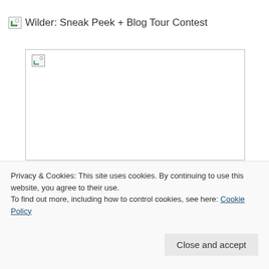Wilder: Sneak Peek + Blog Tour Contest
[Figure (photo): Broken image placeholder box with a small broken image icon in the top-left corner, representing a failed image load]
Today we've got a sneak peek at the new contemporary YA book Wilder by Andrew Simonet for you, plus your chance to win a copy of the
Privacy & Cookies: This site uses cookies. By continuing to use this website, you agree to their use.
To find out more, including how to control cookies, see here: Cookie Policy
Close and accept